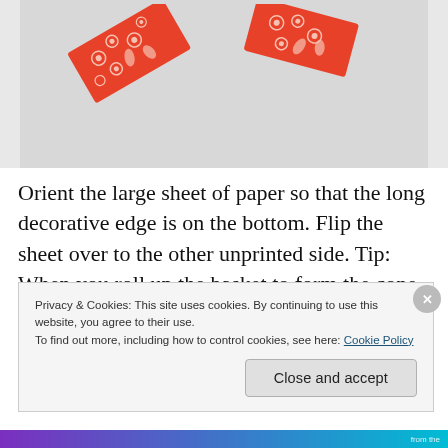[Figure (photo): Red decorative patterned paper pieces with floral/leaf motifs on a light grey background]
Orient the large sheet of paper so that the long decorative edge is on the bottom. Flip the sheet over to the other unprinted side. Tip: When you roll up the basket to form the cone shape, the outside of the basket will display the
Privacy & Cookies: This site uses cookies. By continuing to use this website, you agree to their use.
To find out more, including how to control cookies, see here: Cookie Policy
Close and accept